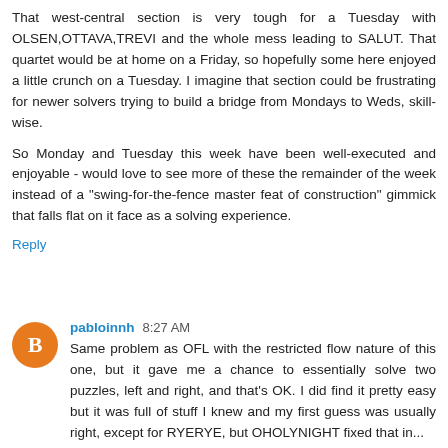That west-central section is very tough for a Tuesday with OLSEN,OTTAVA,TREVI and the whole mess leading to SALUT. That quartet would be at home on a Friday, so hopefully some here enjoyed a little crunch on a Tuesday. I imagine that section could be frustrating for newer solvers trying to build a bridge from Mondays to Weds, skill-wise.
So Monday and Tuesday this week have been well-executed and enjoyable - would love to see more of these the remainder of the week instead of a "swing-for-the-fence master feat of construction" gimmick that falls flat on it face as a solving experience.
Reply
pabloinnh 8:27 AM
Same problem as OFL with the restricted flow nature of this one, but it gave me a chance to essentially solve two puzzles, left and right, and that's OK. I did find it pretty easy but it was full of stuff I knew and my first guess was usually right, except for RYERYE, but OHOLYNIGHT fixed that in...